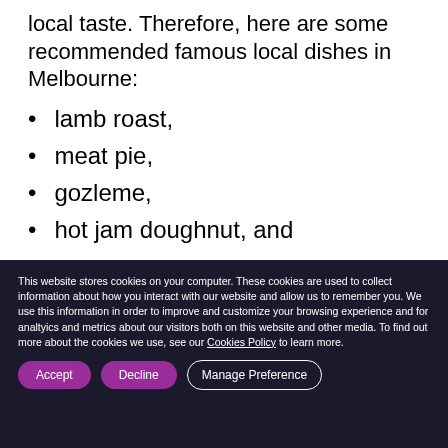local taste. Therefore, here are some recommended famous local dishes in Melbourne:
lamb roast,
meat pie,
gozleme,
hot jam doughnut, and
This website stores cookies on your computer. These cookies are used to collect information about how you interact with our website and allow us to remember you. We use this information in order to improve and customize your browsing experience and for analtyics and metrics about our visitors both on this website and other media. To find out more about the cookies we use, see our Cookies Policy to learn more.